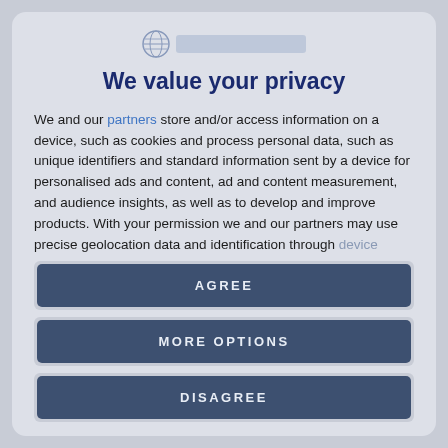[Figure (logo): Globe icon logo with blurred text bar beside it]
We value your privacy
We and our partners store and/or access information on a device, such as cookies and process personal data, such as unique identifiers and standard information sent by a device for personalised ads and content, ad and content measurement, and audience insights, as well as to develop and improve products. With your permission we and our partners may use precise geolocation data and identification through device scanning. You may click to consent to our and our partners'
AGREE
MORE OPTIONS
DISAGREE